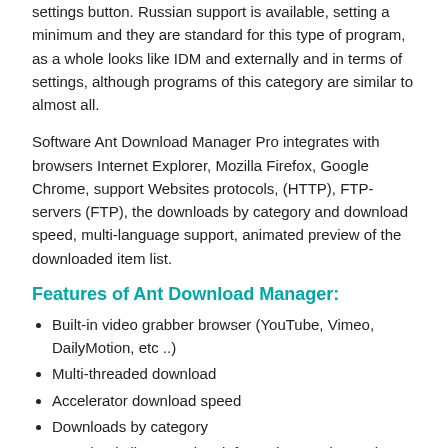settings button. Russian support is available, setting a minimum and they are standard for this type of program, as a whole looks like IDM and externally and in terms of settings, although programs of this category are similar to almost all.
Software Ant Download Manager Pro integrates with browsers Internet Explorer, Mozilla Firefox, Google Chrome, support Websites protocols, (HTTP), FTP-servers (FTP), the downloads by category and download speed, multi-language support, animated preview of the downloaded item list.
Features of Ant Download Manager:
Built-in video grabber browser (YouTube, Vimeo, DailyMotion, etc ..)
Multi-threaded download
Accelerator download speed
Downloads by category
Downloads list, complete information, sorting options
Capturing links from the clipboard
Integration in browser
Multi-lingual support
HTTP support, HTTPS, FTP protocols
Portability